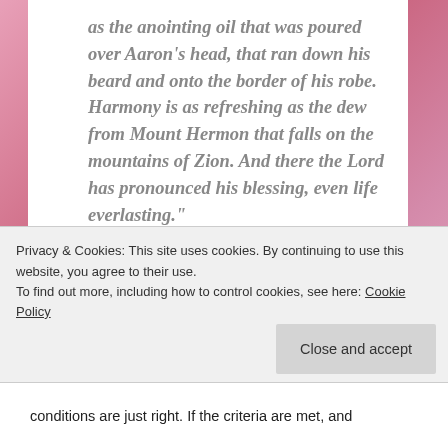as the anointing oil that was poured over Aaron's head, that ran down his beard and onto the border of his robe. Harmony is as refreshing as the dew from Mount Hermon that falls on the mountains of Zion. And there the Lord has pronounced his blessing, even life everlasting.”
Within these verses, God’s glorious presence is depicted as anointing oil and dew.
Privacy & Cookies: This site uses cookies. By continuing to use this website, you agree to their use.
To find out more, including how to control cookies, see here: Cookie Policy
Close and accept
conditions are just right. If the criteria are met, and